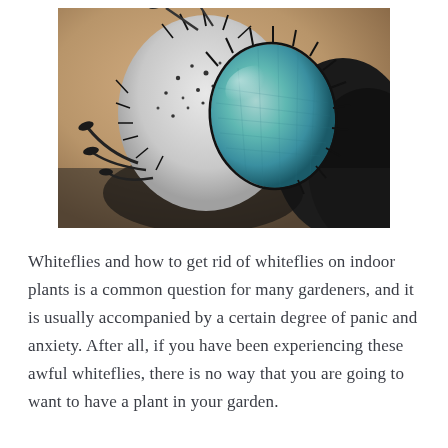[Figure (photo): Extreme close-up macro photograph of a fly's head showing large teal/green compound eye, white face with black spots, dark bristly hairs, and antennae with club-shaped tips, against a warm tan/beige bokeh background.]
Whiteflies and how to get rid of whiteflies on indoor plants is a common question for many gardeners, and it is usually accompanied by a certain degree of panic and anxiety. After all, if you have been experiencing these awful whiteflies, there is no way that you are going to want to have a plant in your garden.